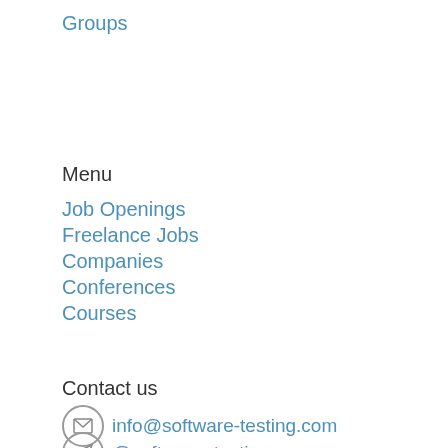Groups
Menu
Job Openings
Freelance Jobs
Companies
Conferences
Courses
Contact us
info@software-testing.com
@software_testing_com